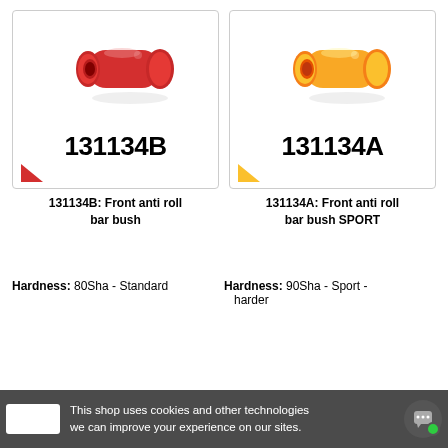[Figure (photo): Red polyurethane front anti roll bar bush by Strongflex, part number 131134B]
131134B: Front anti roll bar bush
[Figure (photo): Yellow polyurethane front anti roll bar bush SPORT by Strongflex, part number 131134A]
131134A: Front anti roll bar bush SPORT
Hardness: 80Sha - Standard
Hardness: 90Sha - Sport - harder
This shop uses cookies and other technologies we can improve your experience on our sites.